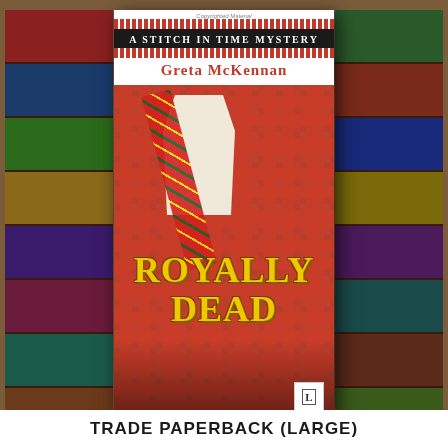[Figure (photo): Book cover for 'Royally Dead' by Greta McKennan, part of A Stitch In Time Mystery series. Cover shows a Scottish tartan display at what appears to be a craft fair booth, with a mannequin wearing tartan sash and kilts. Title in bold yellow text overlay. Publisher logo in bottom right corner.]
TRADE PAPERBACK (LARGE)